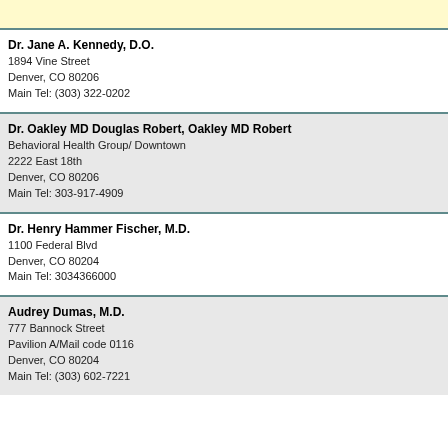Dr. Jane A. Kennedy, D.O.
1894 Vine Street
Denver, CO 80206
Main Tel: (303) 322-0202
Dr. Oakley MD Douglas Robert, Oakley MD Robert
Behavioral Health Group/ Downtown
2222 East 18th
Denver, CO 80206
Main Tel: 303-917-4909
Dr. Henry Hammer Fischer, M.D.
1100 Federal Blvd
Denver, CO 80204
Main Tel: 3034366000
Audrey Dumas, M.D.
777 Bannock Street
Pavilion A/Mail code 0116
Denver, CO 80204
Main Tel: (303) 602-7221